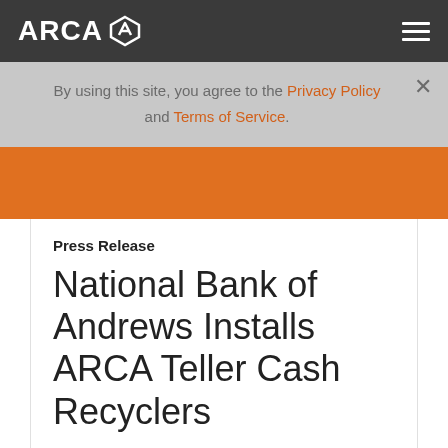ARCA
By using this site, you agree to the Privacy Policy and Terms of Service.
National Bank of Andrews Installs ARCA Teller Cash Recyclers
Press Release
Mebane, NC – September 11, 2012